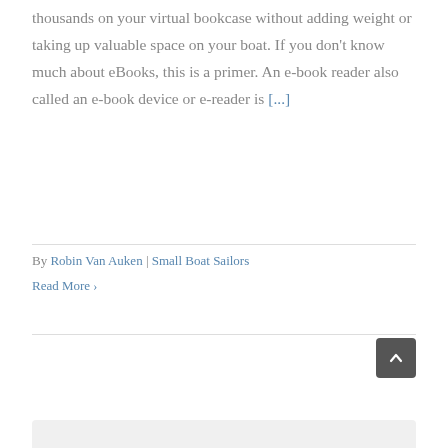thousands on your virtual bookcase without adding weight or taking up valuable space on your boat. If you don't know much about eBooks, this is a primer. An e-book reader also called an e-book device or e-reader is [...]
By Robin Van Auken | Small Boat Sailors
Read More >